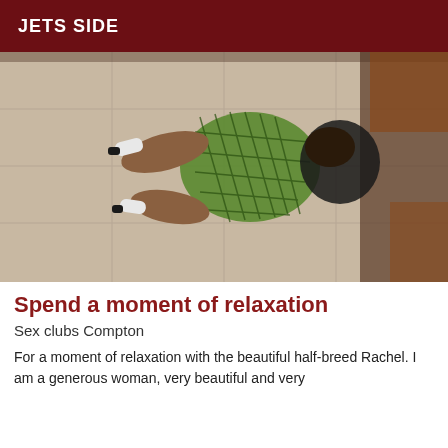JETS SIDE
[Figure (photo): A person wearing a green fishnet dress and white boots, lying on a tiled floor, photographed from above.]
Spend a moment of relaxation
Sex clubs Compton
For a moment of relaxation with the beautiful half-breed Rachel. I am a generous woman, very beautiful and very